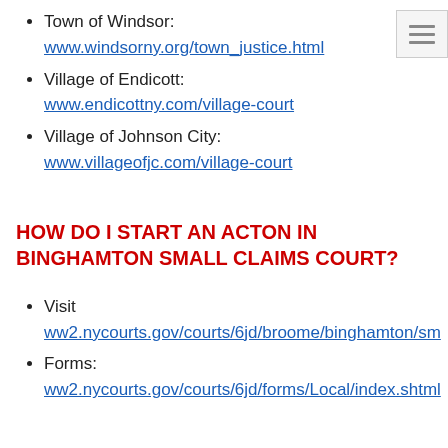Town of Windsor: www.windsorny.org/town_justice.html
Village of Endicott: www.endicottny.com/village-court
Village of Johnson City: www.villageofjc.com/village-court
HOW DO I START AN ACTON IN BINGHAMTON SMALL CLAIMS COURT?
Visit ww2.nycourts.gov/courts/6jd/broome/binghamton/sm
Forms: ww2.nycourts.gov/courts/6jd/forms/Local/index.shtml
HOW DO I START A CIVIL CASE IN BINGHAMTON CITY COURT?